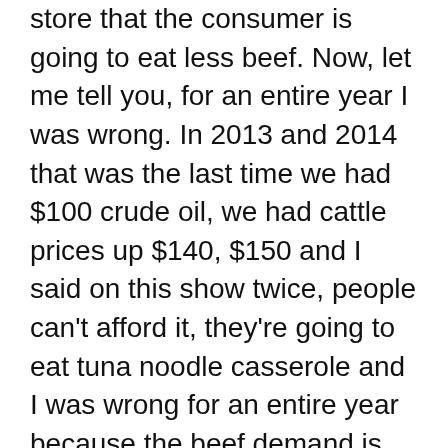store that the consumer is going to eat less beef. Now, let me tell you, for an entire year I was wrong. In 2013 and 2014 that was the last time we had $100 crude oil, we had cattle prices up $140, $150 and I said on this show twice, people can't afford it, they're going to eat tuna noodle casserole and I was wrong for an entire year because the beef demand is there, there is no substitute for beef. Cuts at the store got a little bit smaller. Maybe instead of a pound and a half of hamburger in your spaghetti you scale it back to a pound. The demand is there, there is no substitute for beef, and I think the market is going to be surprised to see that because they're assuming it's not going to